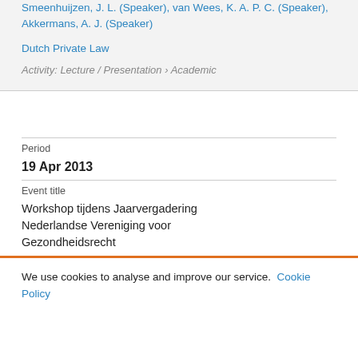Smeenhuijzen, J. L. (Speaker), van Wees, K. A. P. C. (Speaker), Akkermans, A. J. (Speaker)
Dutch Private Law
Activity: Lecture / Presentation › Academic
Period
19 Apr 2013
Event title
Workshop tijdens Jaarvergadering Nederlandse Vereniging voor Gezondheidsrecht
We use cookies to analyse and improve our service. Cookie Policy